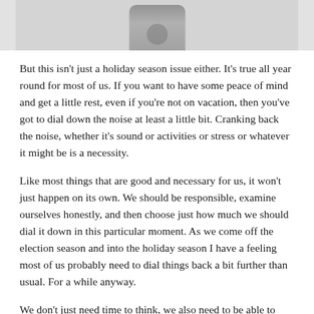[Figure (photo): Partial photo of an object (appears to be a small device or glasses case) on a light background, cropped at top of page]
But this isn't just a holiday season issue either. It's true all year round for most of us. If you want to have some peace of mind and get a little rest, even if you're not on vacation, then you've got to dial down the noise at least a little bit. Cranking back the noise, whether it's sound or activities or stress or whatever it might be is a necessity.
Like most things that are good and necessary for us, it won't just happen on its own. We should be responsible, examine ourselves honestly, and then choose just how much we should dial it down in this particular moment. As we come off the election season and into the holiday season I have a feeling most of us probably need to dial things back a bit further than usual. For a while anyway.
We don't just need time to think, we also need to be able to hear ourselves when we do think. That requires cutting out the tricle the next sentence and the intent bitmaps and